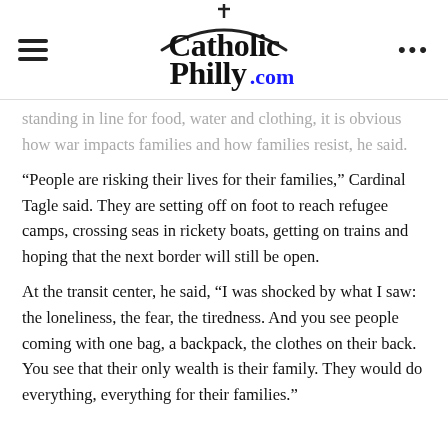CatholicPhilly.com
standing in line for food, water and clothing, it is obvious how war impacts families and how families resist, he said.
“People are risking their lives for their families,” Cardinal Tagle said. They are setting off on foot to reach refugee camps, crossing seas in rickety boats, getting on trains and hoping that the next border will still be open.
At the transit center, he said, “I was shocked by what I saw: the loneliness, the fear, the tiredness. And you see people coming with one bag, a backpack, the clothes on their back. You see that their only wealth is their family. They would do everything, everything for their families.”